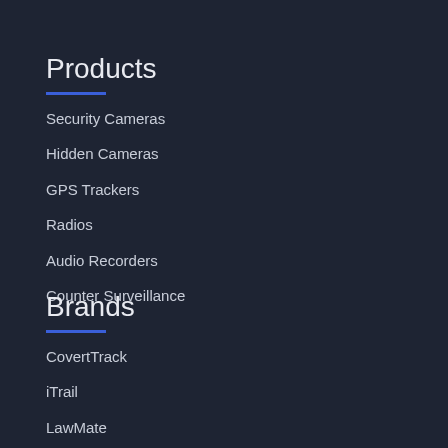Products
Security Cameras
Hidden Cameras
GPS Trackers
Radios
Audio Recorders
Counter Surveillance
Brands
CovertTrack
iTrail
LawMate